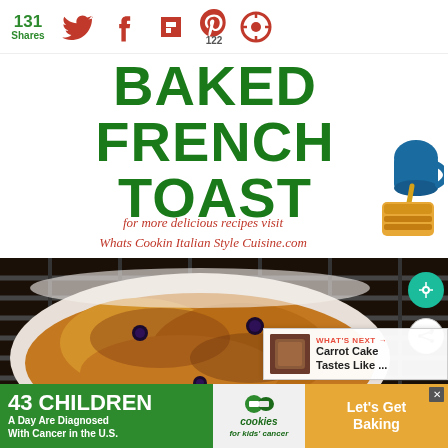131 Shares — social share icons: Twitter, Facebook, Flipboard, Pinterest (122), CircleShare
BAKED FRENCH TOAST
for more delicious recipes visit Whats Cookin Italian Style Cuisine.com
[Figure (photo): Baked French Toast in a white baking dish with blueberries and cinnamon sugar topping, viewed in oven on rack]
WHAT'S NEXT → Carrot Cake Tastes Like ...
43 CHILDREN A Day Are Diagnosed With Cancer in the U.S. cookies for kids' cancer Let's Get Baking